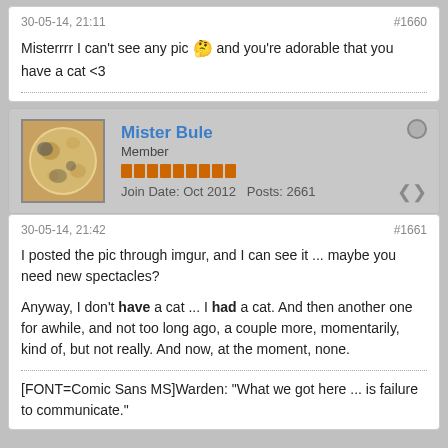30-05-14, 21:11
#1660
Misterrrr I can't see any pic 😒 and you're adorable that you have a cat <3
Mister Bule
Member
Join Date: Oct 2012   Posts: 2661
30-05-14, 21:42
#1661
I posted the pic through imgur, and I can see it ... maybe you need new spectacles?
Anyway, I don't have a cat ... I had a cat. And then another one for awhile, and not too long ago, a couple more, momentarily, kind of, but not really. And now, at the moment, none.
[FONT=Comic Sans MS]Warden: "What we got here ... is failure to communicate."